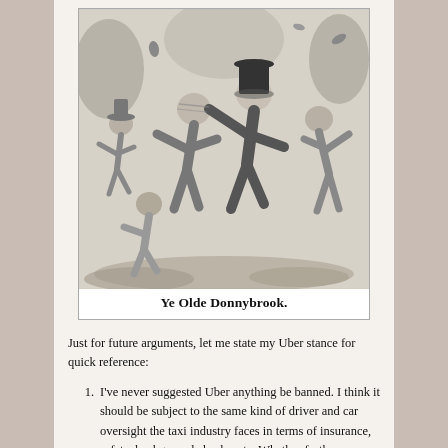[Figure (illustration): Black and white vintage engraving of a brawl scene — several men in old-fashioned clothing fighting, punching, and struggling with each other outdoors. Caption reads 'Ye Olde Donnybrook.']
Ye Olde Donnybrook.
Just for future arguments, let me state my Uber stance for quick reference:
I've never suggested Uber anything be banned. I think it should be subject to the same kind of driver and car oversight the taxi industry faces in terms of insurance, safety, background checks, etc. Whether further regulation is required in terms of things like fare rates and passenger protocol or if